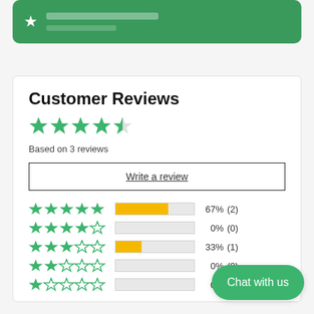[Figure (other): Top green banner with star and partial text]
Customer Reviews
[Figure (other): 4.5 out of 5 stars rating display (5 green stars, last one half-filled)]
Based on 3 reviews
Write a review
[Figure (bar-chart): Review rating breakdown]
Chat with us